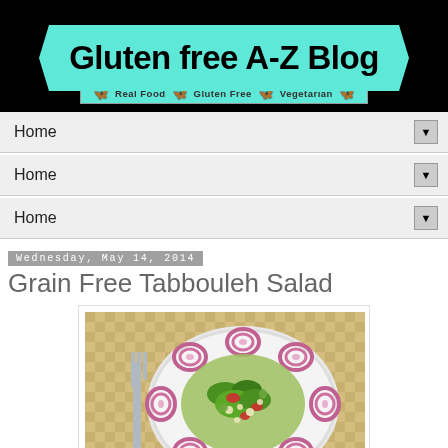[Figure (logo): Gluten free A-Z Blog banner with teal ribbon and butterfly tagline bar showing Real Food, Gluten Free, Vegetarian]
Home ▼
Home ▼
Home ▼
Wednesday, May 14, 2014
Grain Free Tabbouleh Salad
[Figure (photo): Photo of a white decorative plate with grain free tabbouleh salad in the center, garnished with red onion rings around the edge, with a fork on the left side on a checkered tablecloth]